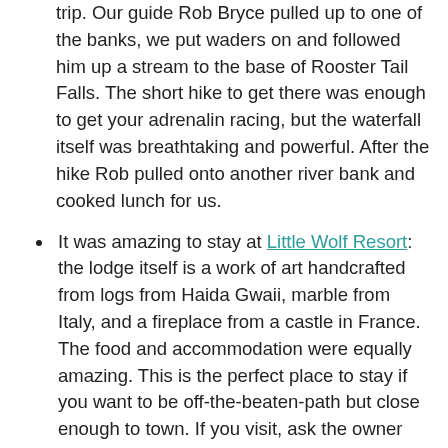trip. Our guide Rob Bryce pulled up to one of the banks, we put waders on and followed him up a stream to the base of Rooster Tail Falls. The short hike to get there was enough to get your adrenalin racing, but the waterfall itself was breathtaking and powerful. After the hike Rob pulled onto another river bank and cooked lunch for us.
It was amazing to stay at Little Wolf Resort: the lodge itself is a work of art handcrafted from logs from Haida Gwaii, marble from Italy, and a fireplace from a castle in France. The food and accommodation were equally amazing. This is the perfect place to stay if you want to be off-the-beaten-path but close enough to town. If you visit, ask the owner about his Nobel Prize!
Hidden Acres Treehouse Resort is perfectly situated in Terrace, so it's a great spot if you want to eat out